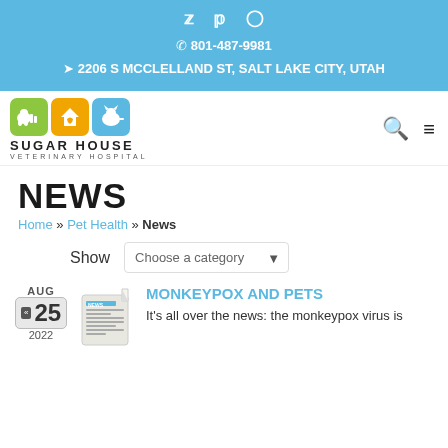Twitter Facebook Instagram | ☎ 801-487-9981 | 📍 2206 S MCCLELLAND ST, SALT LAKE CITY, UTAH
[Figure (logo): Sugar House Veterinary Hospital logo with three colored boxes (green dog, yellow house with heart, blue cat) and text SUGAR HOUSE VETERINARY HOSPITAL]
NEWS
Home » Pet Health » News
Show  Choose a category
AUG 25 2022
MONKEYPOX AND PETS
It's all over the news: the monkeypox virus is